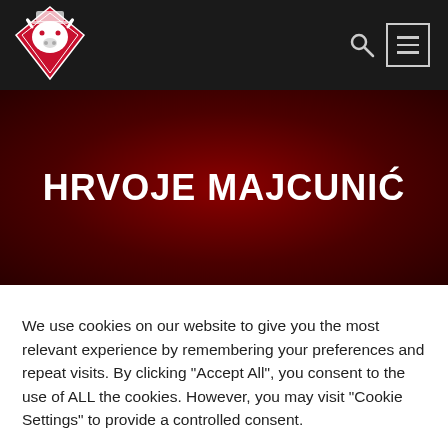[Figure (logo): Sports team logo — bull head in diamond shape with red and white colors, on dark navbar]
HRVOJE MAJCUNIĆ
We use cookies on our website to give you the most relevant experience by remembering your preferences and repeat visits. By clicking "Accept All", you consent to the use of ALL the cookies. However, you may visit "Cookie Settings" to provide a controlled consent.